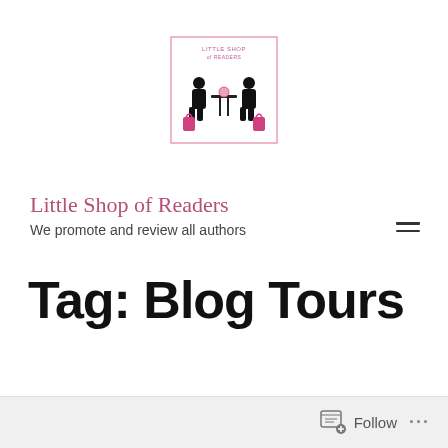[Figure (logo): Little Shop of Readers logo: two silhouetted women sitting at a table with shopping bags, text 'LITTLE SHOP OF READERS' above]
Little Shop of Readers
We promote and review all authors
Tag: Blog Tours
Follow ...